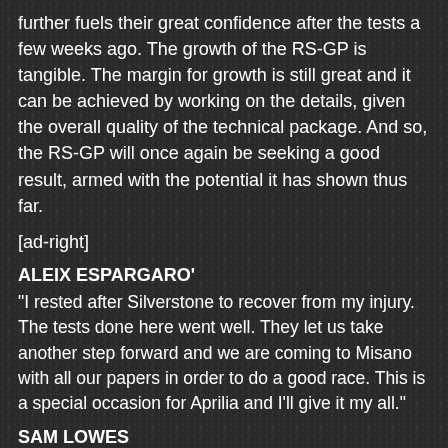further fuels their great confidence after the tests a few weeks ago. The growth of the RS-GP is tangible. The margin for growth is still great and it can be achieved by working on the details, given the overall quality of the technical package. And so, the RS-GP will once again be seeking a good result, armed with the potential it has shown thus far.
[ad-right]
ALEIX ESPARGARO'
“I rested after Silverstone to recover from my injury. The tests done here went well. They let us take another step forward and we are coming to Misano with all our papers in order to do a good race. This is a special occasion for Aprilia and I’ll give it my all.”
SAM LOWES
“We tested here in Misano recently and I had a good